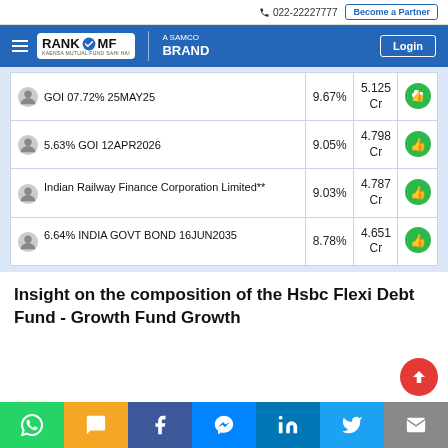022-22227777 | Become a Partner | RANKMF A SAMCO BRAND | Login
| Name | Weight | Value |  |
| --- | --- | --- | --- |
| GOI 07.72% 25MAY25 | 9.67% | 5.125 Cr | 👍 |
| 5.63% GOI 12APR2026 | 9.05% | 4.798 Cr | 👍 |
| Indian Railway Finance Corporation Limited** | 9.03% | 4.787 Cr | 👍 |
| 6.64% INDIA GOVT BOND 16JUN2035 | 8.78% | 4.651 Cr | 👍 |
Insight on the composition of the Hsbc Flexi Debt Fund - Growth Fund Growth